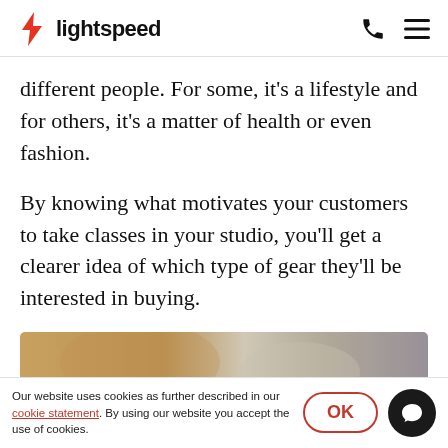lightspeed
different people. For some, it’s a lifestyle and for others, it’s a matter of health or even fashion.
By knowing what motivates your customers to take classes in your studio, you’ll get a clearer idea of which type of gear they’ll be interested in buying.
[Figure (photo): Partial photo strip showing a person with yoga or fitness gear, warm earthy tones, partially visible at the bottom of the page]
Our website uses cookies as further described in our cookie statement. By using our website you accept the use of cookies.